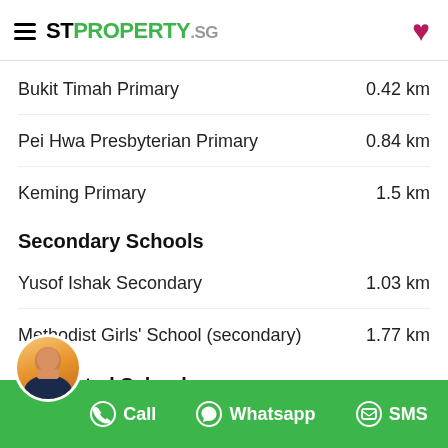STPROPERTY.sg
Bukit Timah Primary — 0.42 km
Pei Hwa Presbyterian Primary — 0.84 km
Keming Primary — 1.5 km
Secondary Schools
Yusof Ishak Secondary — 1.03 km
Methodist Girls' School (secondary) — 1.77 km
Integrated Schools
...ist Girls' School (secondary) ... 1.77 k
Call   Whatsapp   SMS